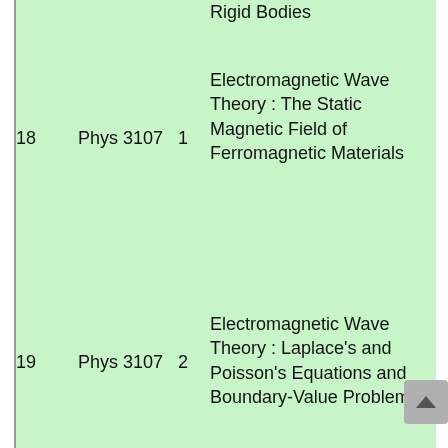| # | Course | Unit | Title |
| --- | --- | --- | --- |
|  |  |  | Rigid Bodies |
| 18 | Phys 3107 | 1 | Electromagnetic Wave Theory : The Static Magnetic Field of Ferromagnetic Materials |
| 19 | Phys 3107 | 2 | Electromagnetic Wave Theory : Laplace's and Poisson's Equations and Boundary-Value Problems |